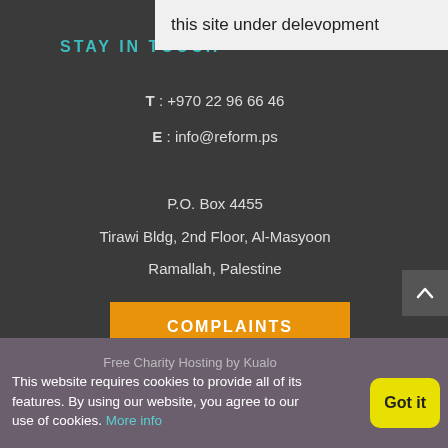[Figure (screenshot): Website under development banner overlay at top right]
STAY IN TOUCH
T : +970 22 96 66 46
E : info@reform.ps
P.O. Box 4455
Tirawi Bldg, 2nd Floor, Al-Masyoon
Ramallah, Palestine
COMPLAINTS
Free Charity Hosting by Kualo
This website requires cookies to provide all of its features. By using our website, you agree to our use of cookies. More info
Got it